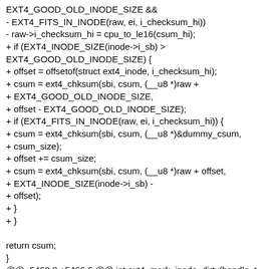EXT4_GOOD_OLD_INODE_SIZE &&
- EXT4_FITS_IN_INODE(raw, ei, i_checksum_hi))
- raw->i_checksum_hi = cpu_to_le16(csum_hi);
+ if (EXT4_INODE_SIZE(inode->i_sb) >
EXT4_GOOD_OLD_INODE_SIZE) {
+ offset = offsetof(struct ext4_inode, i_checksum_hi);
+ csum = ext4_chksum(sbi, csum, (__u8 *)raw +
+ EXT4_GOOD_OLD_INODE_SIZE,
+ offset - EXT4_GOOD_OLD_INODE_SIZE);
+ if (EXT4_FITS_IN_INODE(raw, ei, i_checksum_hi)) {
+ csum = ext4_chksum(sbi, csum, (__u8 *)&dummy_csum,
+ csum_size);
+ offset += csum_size;
+ csum = ext4_chksum(sbi, csum, (__u8 *)raw + offset,
+ EXT4_INODE_SIZE(inode->i_sb) -
+ offset);
+ }
+ }

return csum;
}
@@ -5460,8 +5466,6 @@ int ext4_mark_inode_dirty(handle_t
*handle, struct inode *inode)
sbi->s_want_extra_isize,
iloc, handle);
if (ret) {